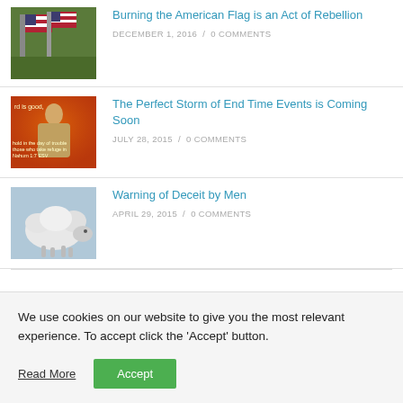[Figure (photo): American flags waving outdoors on green grass background]
Burning the American Flag is an Act of Rebellion
DECEMBER 1, 2016 / 0 COMMENTS
[Figure (photo): Religious image showing Jesus figure with text overlay referencing Nahum scripture on orange/red background]
The Perfect Storm of End Time Events is Coming Soon
JULY 28, 2015 / 0 COMMENTS
[Figure (photo): A sheep or lamb in a cloudy outdoor setting]
Warning of Deceit by Men
APRIL 29, 2015 / 0 COMMENTS
We use cookies on our website to give you the most relevant experience. To accept click the 'Accept' button.
Read More
Accept